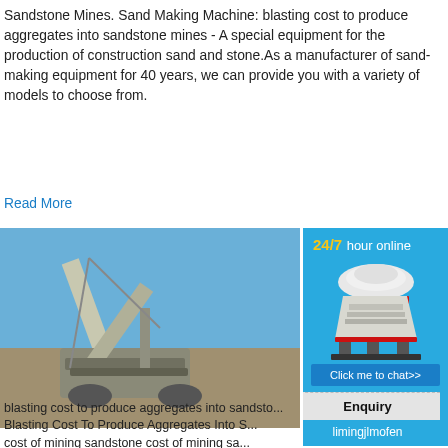Sandstone Mines. Sand Making Machine: blasting cost to produce aggregates into sandstone mines - A special equipment for the production of construction sand and stone.As a manufacturer of sand-making equipment for 40 years, we can provide you with a variety of models to choose from.
Read More
[Figure (photo): Photo of a large industrial sand-making or crushing machine at a quarry/construction site with blue sky background.]
[Figure (photo): Sidebar advertisement showing a cone crusher machine with 24/7 hour online text in yellow and white, a blue background, a Click me to chat>> button, an Enquiry bar, and limingjlmofen text.]
blasting cost to produce aggregates into sandsto... Blasting Cost To Produce Aggregates Into S... cost of mining sandstone cost of mining sa... latourdebebellebe. blasting cost to produce ... sandstone min Construction aggregates: ev... suitability of naturally occurring rock for the ... construction aggregate relies on itsand oth...